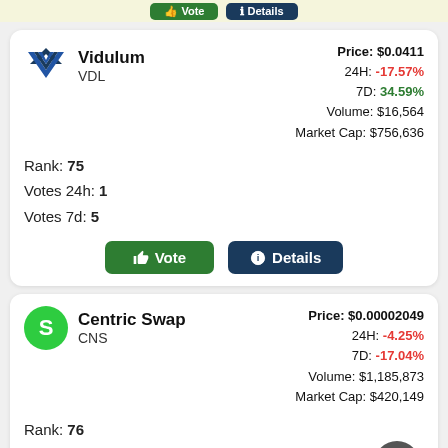Vidulum VDL | Price: $0.0411 | 24H: -17.57% | 7D: 34.59% | Volume: $16,564 | Market Cap: $756,636 | Rank: 75 | Votes 24h: 1 | Votes 7d: 5
Centric Swap CNS | Price: $0.00002049 | 24H: -4.25% | 7D: -17.04% | Volume: $1,185,873 | Market Cap: $420,149 | Rank: 76 | Votes 24h: 1 | Votes 7d: 5